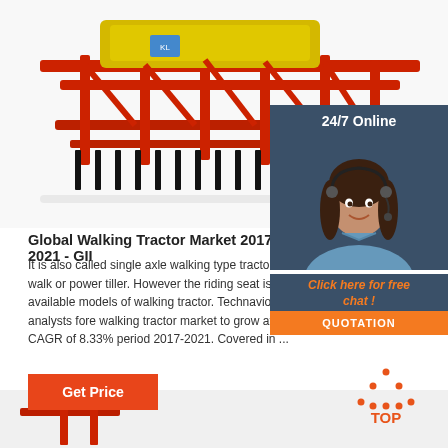[Figure (photo): Red and yellow agricultural tractor/harvesting machinery on white background]
[Figure (photo): 24/7 Online panel with customer service representative wearing headset, with orange chat button and QUOTATION button]
Global Walking Tractor Market 2017-2021 - GII
It is also called single axle walking type tractor walk or power tiller. However the riding seat is available models of walking tractor. Technavio's analysts fore walking tractor market to grow at a CAGR of 8.33% period 2017-2021. Covered in ...
[Figure (other): Get Price orange button]
[Figure (other): TOP navigation icon with orange dotted triangle and orange text TOP]
[Figure (photo): Partial view of red agricultural machinery at bottom of page]